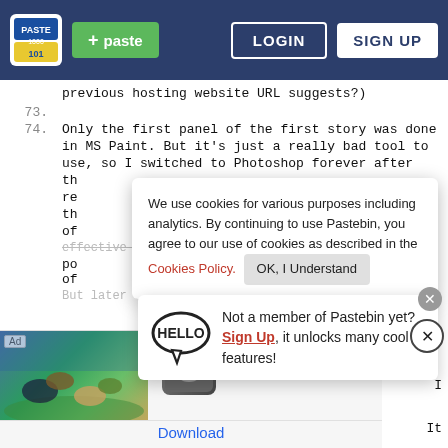+ paste  LOGIN  SIGN UP
previous hosting website URL suggests?)
73.
74. Only the first panel of the first story was done in MS Paint. But it's just a really bad tool to use, so I switched to Photoshop forever after th re th of effective visuals I could in as little time as po of
We use cookies for various purposes including analytics. By continuing to use Pastebin, you agree to our use of cookies as described in the Cookies Policy.  OK, I Understand
Not a member of Pastebin yet? Sign Up, it unlocks many cool features!
But later the process evolved to include more
[Figure (illustration): Ad banner with fantasy animals and wolf icon. Text: Join the wolf pack! Download]
It